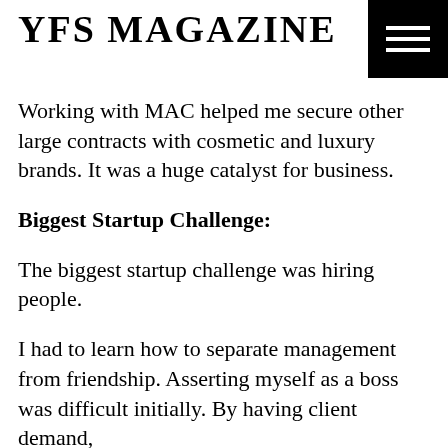YFS MAGAZINE
Working with MAC helped me secure other large contracts with cosmetic and luxury brands. It was a huge catalyst for business.
Biggest Startup Challenge:
The biggest startup challenge was hiring people.
I had to learn how to separate management from friendship. Asserting myself as a boss was difficult initially. By having client demand,